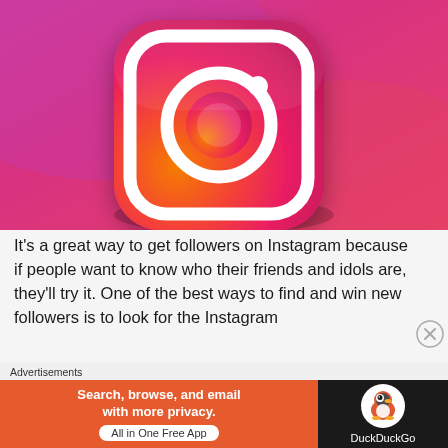[Figure (illustration): 3D rendered Instagram app icon on a pink/magenta gradient background. The icon is a rounded square with orange-to-pink gradient containing a white camera outline with a circular lens and viewfinder dot.]
It's a great way to get followers on Instagram because if people want to know who their friends and idols are, they'll try it. One of the best ways to find and win new followers is to look for the Instagram
Advertisements
[Figure (advertisement): DuckDuckGo advertisement banner: orange left side with text 'Search, browse, and email with more privacy. All in One Free App' and dark right side with DuckDuckGo logo and name.]